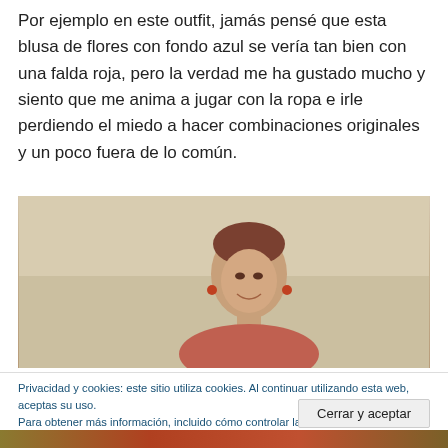Por ejemplo en este outfit, jamás pensé que esta blusa de flores con fondo azul se vería tan bien con una falda roja, pero la verdad me ha gustado mucho y siento que me anima a jugar con la ropa e irle perdiendo el miedo a hacer combinaciones originales y un poco fuera de lo común.
[Figure (photo): A woman smiling, photographed from roughly shoulders up, against a beige/taupe wall background]
Privacidad y cookies: este sitio utiliza cookies. Al continuar utilizando esta web, aceptas su uso.
Para obtener más información, incluido cómo controlar las cookies, consulta aquí: Política de cookies
Cerrar y aceptar